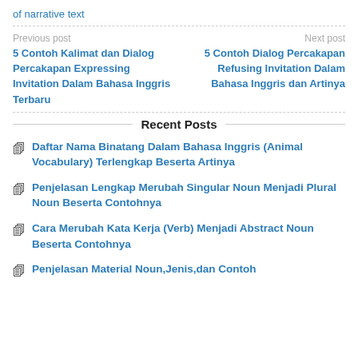of narrative text
Previous post
5 Contoh Kalimat dan Dialog Percakapan Expressing Invitation Dalam Bahasa Inggris Terbaru
Next post
5 Contoh Dialog Percakapan Refusing Invitation Dalam Bahasa Inggris dan Artinya
Recent Posts
Daftar Nama Binatang Dalam Bahasa Inggris (Animal Vocabulary) Terlengkap Beserta Artinya
Penjelasan Lengkap Merubah Singular Noun Menjadi Plural Noun Beserta Contohnya
Cara Merubah Kata Kerja (Verb) Menjadi Abstract Noun Beserta Contohnya
Penjelasan Material Noun,Jenis,dan Contoh